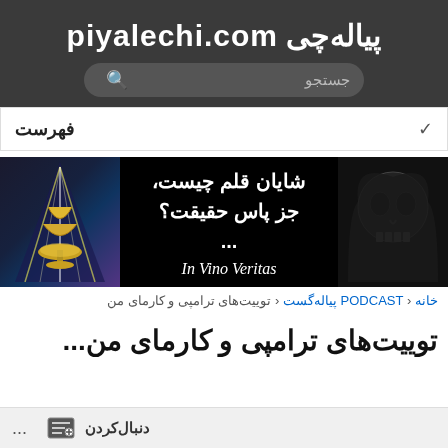پیاله‌چی piyalechi.com
جستجو
فهرست
[Figure (illustration): Banner image with Persian text: شایان قلم چیست، جز پاس حقیقت؟... In Vino Veritas. Dark background with chalice image on left and skull on right.]
خانه ‹ PODCAST پیاله‌گست ‹ توییت‌های ترامپی و کارمای من
توییت‌های ترامپی و کارمای من...
دنبال‌کردن ...